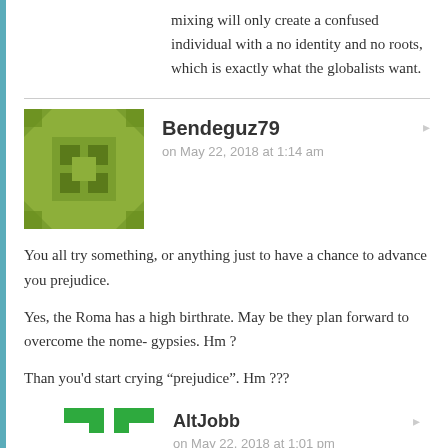mixing will only create a confused individual with a no identity and no roots, which is exactly what the globalists want.
Bendeguz79
on May 22, 2018 at 1:14 am
You all try something, or anything just to have a chance to advance you prejudice.

Yes, the Roma has a high birthrate. May be they plan forward to overcome the nome- gypsies. Hm ?

Than you’d start crying “prejudice”. Hm ???
AltJobb
on May 22, 2018 at 1:01 pm
That’s exactly what we’re trying to prevent.